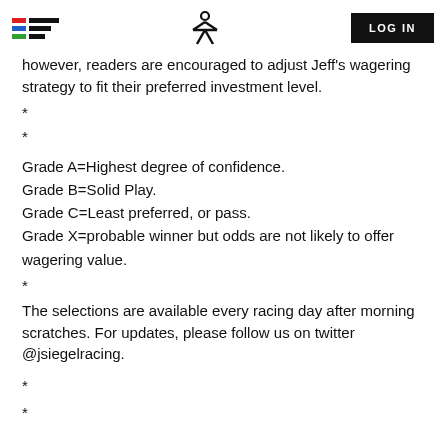LOG IN
however, readers are encouraged to adjust Jeff's wagering strategy to fit their preferred investment level.
*
*
Grade A=Highest degree of confidence.
Grade B=Solid Play.
Grade C=Least preferred, or pass.
Grade X=probable winner but odds are not likely to offer wagering value.
*
The selections are available every racing day after morning scratches. For updates, please follow us on twitter @jsiegelracing.
*
*